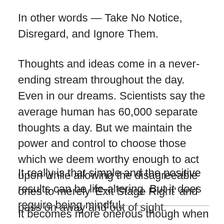In other words — Take No Notice, Disregard, and Ignore Them.
Thoughts and ideas come in a never-ending stream throughout the day. Even in our dreams. Scientists say the average human has 60,000 separate thoughts a day. But we maintain the power and control to choose those which we deem worthy enough to act upon while allowing the disagreeable ones to merely 'Exit Stage Right' and pass on away and out of sight.
It really is that simple and the positive results can be life-altering. But it does require being mindful.
It becomes more onerous though when we realize that we must accept responsibility for our selections, the ones we